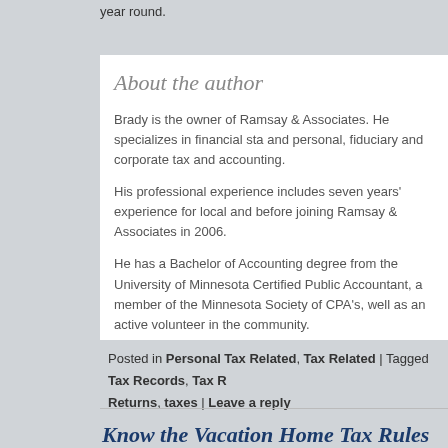year round.
About the author
Brady is the owner of Ramsay & Associates. He specializes in financial sta and personal, fiduciary and corporate tax and accounting.
His professional experience includes seven years' experience for local and before joining Ramsay & Associates in 2006.
He has a Bachelor of Accounting degree from the University of Minnesota Certified Public Accountant, a member of the Minnesota Society of CPA's, well as an active volunteer in the community.
Posted in Personal Tax Related, Tax Related | Tagged Tax Records, Tax Returns, taxes | Leave a reply
Know the Vacation Home Tax Rules Befo